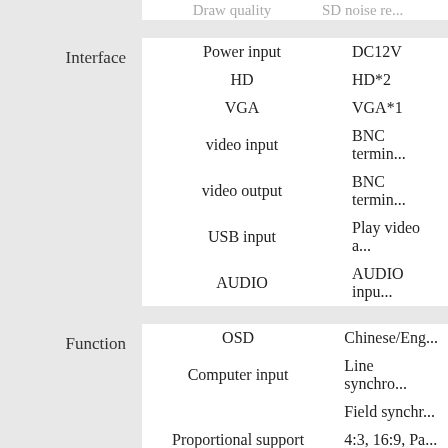|  | Feature | Value |
| --- | --- | --- |
| Interface | Power input | DC12V |
|  | HD | HD*2 |
|  | VGA | VGA*1 |
|  | video input | BNC termin... |
|  | video output | BNC termin... |
|  | USB input | Play video a... |
|  | AUDIO | AUDIO inpu... |
|  | Feature | Value |
| --- | --- | --- |
| Function | OSD | Chinese/Eng... |
|  | Computer input | Line synchro... / Field synchr... |
|  | Proportional support | 4:3, 16:9, Pa... |
|  | HDMI HD support | 480I/480P/7... |
|  | Screen display mode | / |
|  | Audio | Built-in spea... |
|  | Feature | Value |
| --- | --- | --- |
| Work | Operating | -10°C to +60... |